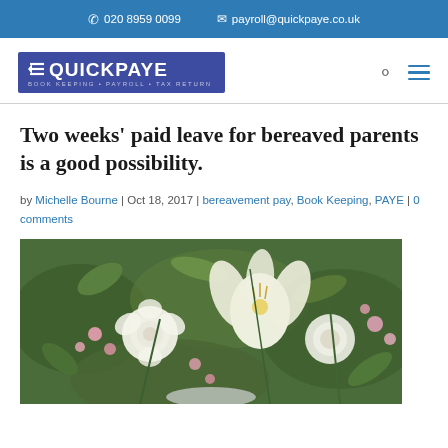020 8959 0099   payroll@quickpaye.co.uk
[Figure (logo): QuickPaye logo - blue/purple rectangle with QUICKPAYE text and tagline BOOK KEEPING • PAYROLL • TAX RETURN]
Two weeks' paid leave for bereaved parents is a good possibility.
by Michelle Bourne | Oct 18, 2017 | bereavement pay, Book Keeping, PAYE | 0 comments
[Figure (photo): Floral arrangement with white lilies, white roses, and pink flowers with green foliage — a funeral or sympathy flower arrangement]